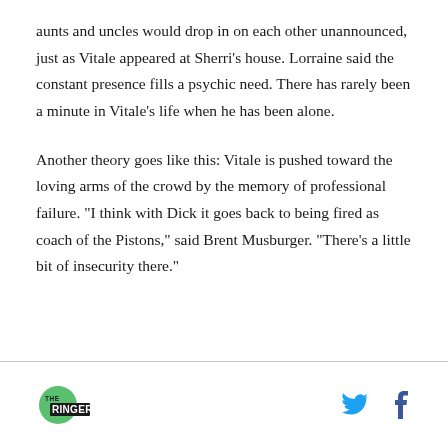aunts and uncles would drop in on each other unannounced, just as Vitale appeared at Sherri’s house. Lorraine said the constant presence fills a psychic need. There has rarely been a minute in Vitale’s life when he has been alone.
Another theory goes like this: Vitale is pushed toward the loving arms of the crowd by the memory of professional failure. "I think with Dick it goes back to being fired as coach of the Pistons," said Brent Musburger. "There’s a little bit of insecurity there."
[Figure (logo): The Ringer logo: green circle with THE RINGER text, black block letters]